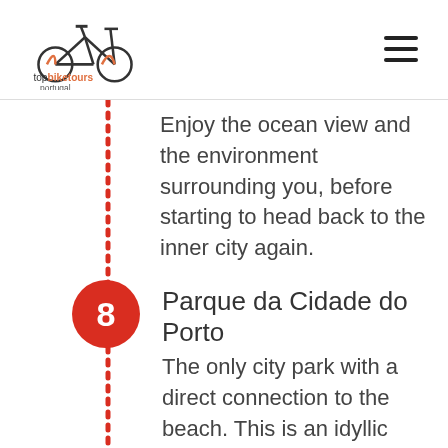topbiketours portugal
Enjoy the ocean view and the environment surrounding you, before starting to head back to the inner city again.
Parque da Cidade do Porto
The only city park with a direct connection to the beach. This is an idyllic place, with two lakes, gooses and the migrating birds that visit the